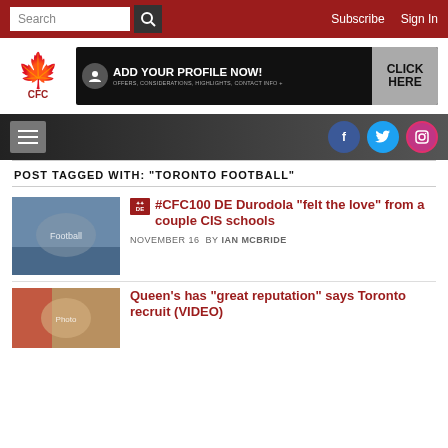Search | Subscribe | Sign In
[Figure (logo): CFC Canadian Football Channel logo with maple leaf]
[Figure (infographic): ADD YOUR PROFILE NOW! CLICK HERE banner ad — dark background with user icon and subtext: OFFERS, CONSIDERATIONS, HIGHLIGHTS, CONTACT INFO +]
[Figure (infographic): Navigation bar with hamburger menu and Facebook, Twitter, Instagram social icons]
POST TAGGED WITH: "TORONTO FOOTBALL"
[Figure (photo): Football players in action on the field]
#CFC100 DE Durodola "felt the love" from a couple CIS schools
NOVEMBER 16  BY IAN MCBRIDE
[Figure (photo): Portrait photo related to Queen's recruit article]
Queen’s has “great reputation” says Toronto recruit (VIDEO)